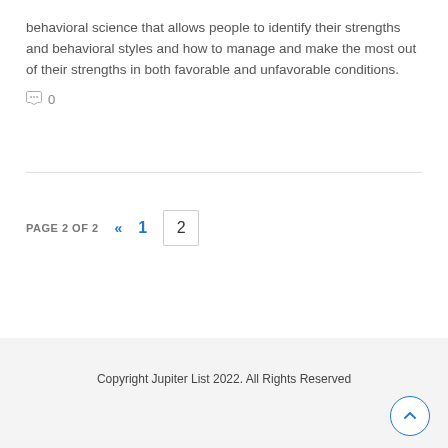behavioral science that allows people to identify their strengths and behavioral styles and how to manage and make the most out of their strengths in both favorable and unfavorable conditions.
💬 0
PAGE 2 OF 2  «  1  2
Copyright Jupiter List 2022. All Rights Reserved